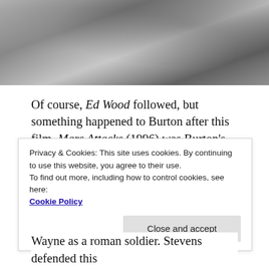[Figure (photo): Black and white photograph of people, likely a film set scene with a woman in a white dress and a man.]
Of course, Ed Wood followed, but something happened to Burton after this film. Mars Attacks (1996) was Burton's attempt to make an Ed Wood-like film, but he didn't learn the George Stevens lesson. Steven had made his Greatest Story Ever Told (1965) and it is one the most frustrating misfires in cinema history, featuring a sublime performance from Max Von Sydow as Christ and a damned fine
Privacy & Cookies: This site uses cookies. By continuing to use this website, you agree to their use.
To find out more, including how to control cookies, see here:
Cookie Policy
Wayne as a roman soldier. Stevens defended this